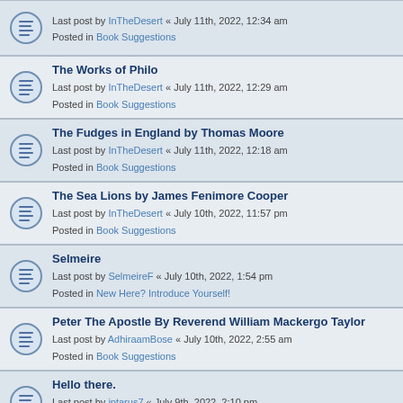Last post by InTheDesert « July 11th, 2022, 12:34 am
Posted in Book Suggestions
The Works of Philo
Last post by InTheDesert « July 11th, 2022, 12:29 am
Posted in Book Suggestions
The Fudges in England by Thomas Moore
Last post by InTheDesert « July 11th, 2022, 12:18 am
Posted in Book Suggestions
The Sea Lions by James Fenimore Cooper
Last post by InTheDesert « July 10th, 2022, 11:57 pm
Posted in Book Suggestions
Selmeire
Last post by SelmeireF « July 10th, 2022, 1:54 pm
Posted in New Here? Introduce Yourself!
Peter The Apostle By Reverend William Mackergo Taylor
Last post by AdhiraamBose « July 10th, 2022, 2:55 am
Posted in Book Suggestions
Hello there.
Last post by jptarus7 « July 9th, 2022, 2:10 pm
Posted in New Here? Introduce Yourself!
Search found more than 1000 matches
1 2 3 4 5 ... 20